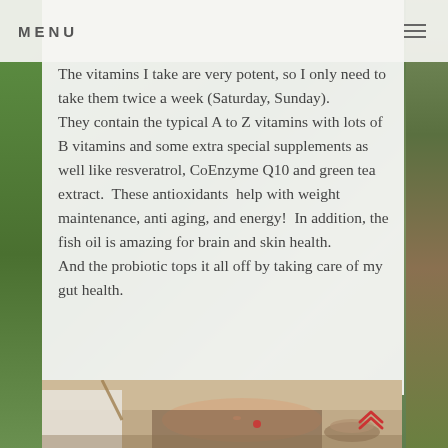MENU
The vitamins I take are very potent, so I only need to take them twice a week (Saturday, Sunday).  They contain the typical A to Z vitamins with lots of B vitamins and some extra special supplements as well like resveratrol, CoEnzyme Q10 and green tea extract.  These antioxidants  help with weight maintenance, anti aging, and energy!  In addition, the fish oil is amazing for brain and skin health.  And the probiotic tops it all off by taking care of my gut health.
[Figure (photo): Spa/facial treatment scene showing a woman lying down receiving a facial treatment, with bowls visible nearby and a practitioner in white clothing]